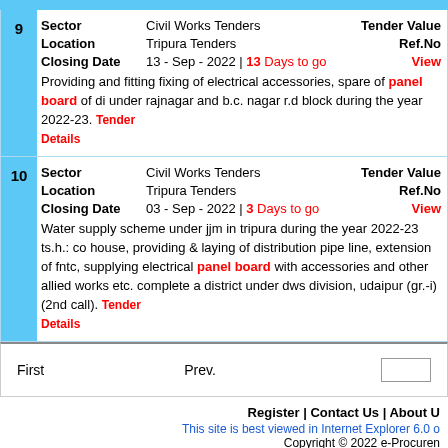| # | Field | Value | Right Field | Right Value |
| --- | --- | --- | --- | --- |
| 9 | Sector | Civil Works Tenders | Tender Value |  |
|  | Location | Tripura Tenders | Ref.No |  |
|  | Closing Date | 13 - Sep - 2022 | 13 Days to go | View |  |
|  | Description | Providing and fitting fixing of electrical accessories, spare of panel board of di under rajnagar and b.c. nagar r.d block during the year 2022-23. |  |  |
| # | Field | Value | Right Field | Right Value |
| --- | --- | --- | --- | --- |
| 10 | Sector | Civil Works Tenders | Tender Value |  |
|  | Location | Tripura Tenders | Ref.No |  |
|  | Closing Date | 03 - Sep - 2022 | 3 Days to go | View |  |
|  | Description | Water supply scheme under jjm in tripura during the year 2022-23 ts.h.: co house, providing & laying of distribution pipe line, extension of fntc, supplying electrical panel board with accessories and other allied works etc. complete a district under dws division, udaipur (gr.-i) (2nd call). |  |  |
First   Prev.
Register | Contact Us | About U
This site is best viewed in Internet Explorer 6.0 o
Copyright © 2022 e-Procuren